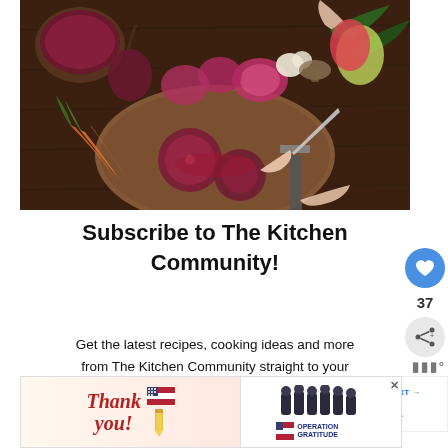[Figure (photo): Overhead/top-down photo of people's hands cutting and preparing colorful vegetables including beets, red onions, carrots, garlic, and various herbs on a dark wooden cutting board. A bowl of dark red sauce is visible in the upper left.]
Subscribe to The Kitchen Community!
Get the latest recipes, cooking ideas and more from The Kitchen Community straight to your inbox.
[Figure (infographic): Advertisement banner: Thank you Operation Gratitude, showing firefighters and patriotic pencil imagery]
[Figure (infographic): What's Next panel showing a chocolate dessert photo with the text 'WHAT'S NEXT → 25 Easy Chocolate...']
[Figure (infographic): Sidebar UI: heart/like button showing count 37 and a share button]